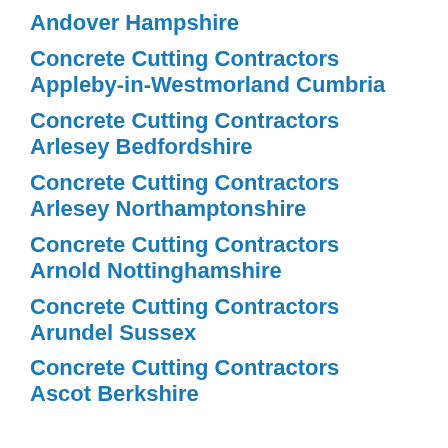Andover Hampshire
Concrete Cutting Contractors Appleby-in-Westmorland Cumbria
Concrete Cutting Contractors Arlesey Bedfordshire
Concrete Cutting Contractors Arlesey Northamptonshire
Concrete Cutting Contractors Arnold Nottinghamshire
Concrete Cutting Contractors Arundel Sussex
Concrete Cutting Contractors Ascot Berkshire